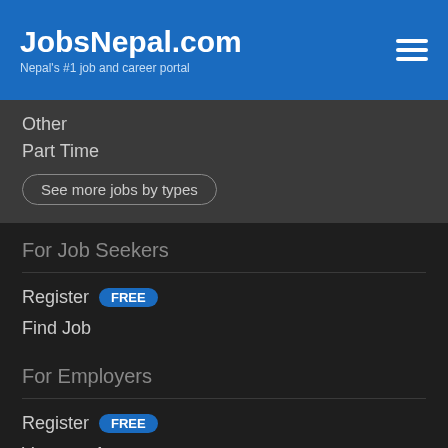JobsNepal.com — Nepal's #1 job and career portal
Other
Part Time
See more jobs by types
For Job Seekers
Register FREE
Find Job
For Employers
Register FREE
Vacancy Announcement
Links
Home